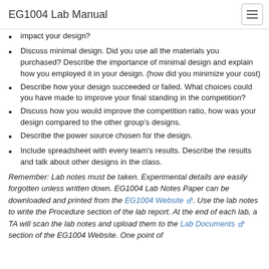EG1004 Lab Manual
impact your design?
Discuss minimal design. Did you use all the materials you purchased? Describe the importance of minimal design and explain how you employed it in your design. (how did you minimize your cost)
Describe how your design succeeded or failed. What choices could you have made to improve your final standing in the competition?
Discuss how you would improve the competition ratio, how was your design compared to the other group’s designs.
Describe the power source chosen for the design.
Include spreadsheet with every team's results. Describe the results and talk about other designs in the class.
Remember: Lab notes must be taken. Experimental details are easily forgotten unless written down. EG1004 Lab Notes Paper can be downloaded and printed from the EG1004 Website. Use the lab notes to write the Procedure section of the lab report. At the end of each lab, a TA will scan the lab notes and upload them to the Lab Documents section of the EG1004 Website. One point of ...